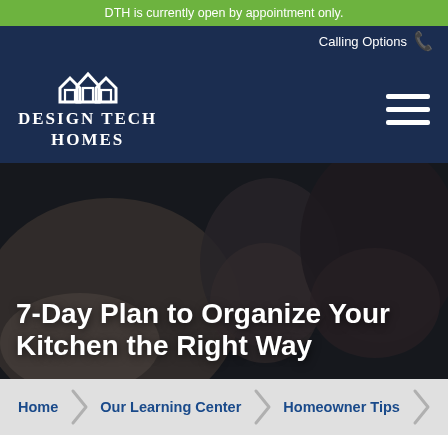DTH is currently open by appointment only.
Calling Options
[Figure (logo): Design Tech Homes logo — three house silhouettes above the text DESIGN TECH HOMES in white on navy background]
[Figure (photo): Dark background photo showing the backs of people's heads, used as hero image]
7-Day Plan to Organize Your Kitchen the Right Way
Home
Our Learning Center
Homeowner Tips